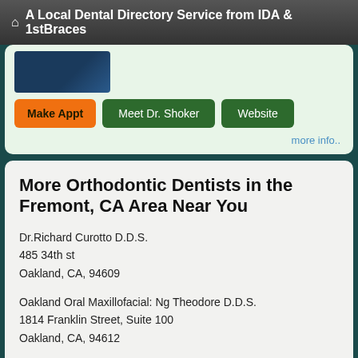A Local Dental Directory Service from IDA & 1stBraces
[Figure (photo): Partial photo of a person (doctor) in dark/blue tones, partially cropped]
Make Appt   Meet Dr. Shoker   Website
more info..
More Orthodontic Dentists in the Fremont, CA Area Near You
Dr.Richard Curotto D.D.S.
485 34th st
Oakland, CA, 94609
Oakland Oral Maxillofacial: Ng Theodore D.D.S.
1814 Franklin Street, Suite 100
Oakland, CA, 94612
Doctor - Activate Your Free 1stBraces Directory Listing